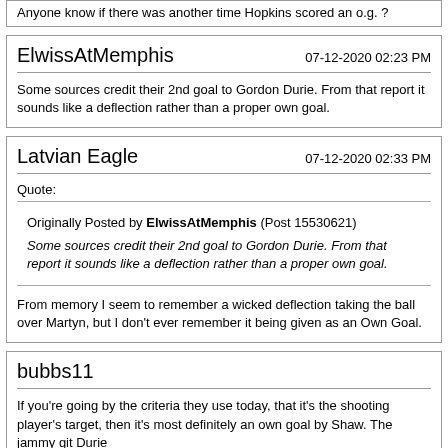Anyone know if there was another time Hopkins scored an o.g. ?
ElwissAtMemphis
07-12-2020 02:23 PM
Some sources credit their 2nd goal to Gordon Durie. From that report it sounds like a deflection rather than a proper own goal.
Latvian Eagle
07-12-2020 02:33 PM
Quote:
Originally Posted by ElwissAtMemphis (Post 15530621) Some sources credit their 2nd goal to Gordon Durie. From that report it sounds like a deflection rather than a proper own goal.
From memory I seem to remember a wicked deflection taking the ball over Martyn, but I don't ever remember it being given as an Own Goal.
bubbs11
If you're going by the criteria they use today, that it's the shooting player's target, then it's most definitely an own goal by Shaw. The jammy git Durie